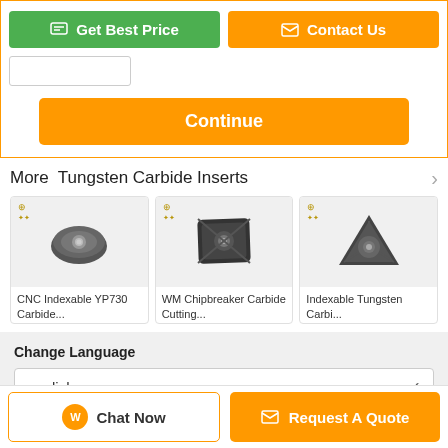[Figure (screenshot): Get Best Price button (green) and Contact Us button (orange) in a row]
[Figure (screenshot): Continue button (orange)]
More  Tungsten Carbide Inserts
[Figure (photo): CNC Indexable YP730 Carbide insert product image]
CNC Indexable YP730 Carbide...
[Figure (photo): WM Chipbreaker Carbide Cutting insert product image]
WM Chipbreaker Carbide Cutting...
[Figure (photo): Indexable Tungsten Carbi... insert product image]
Indexable Tungsten Carbi...
Change Language
english
[Figure (screenshot): Chat Now button and Request A Quote button at the bottom]